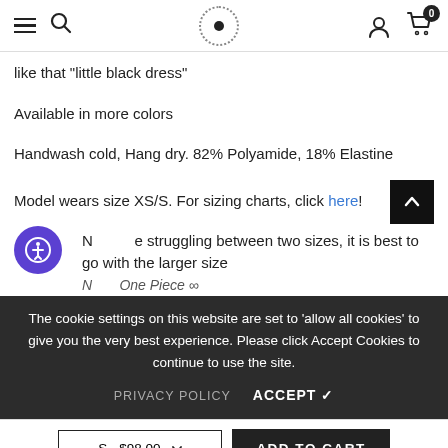Navigation bar with hamburger menu, search, logo, user account, and cart (0 items)
like that "little black dress"
Available in more colors
Handwash cold, Hang dry. 82% Polyamide, 18% Elastine
Model wears size XS/S. For sizing charts, click here!
Note: If struggling between two sizes, it is best to go with the larger size
Note: One Piece ∞
The cookie settings on this website are set to 'allow all cookies' to give you the very best experience. Please click Accept Cookies to continue to use the site.
PRIVACY POLICY   ACCEPT ✓
S - $98.00   ADD TO CART